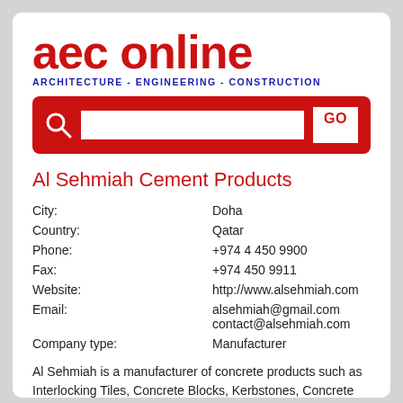[Figure (logo): AEC Online logo with large red lowercase text 'aec online' and blue subtitle 'ARCHITECTURE - ENGINEERING - CONSTRUCTION']
[Figure (other): Red search bar with search icon, text input field, and GO button]
Al Sehmiah Cement Products
| City: | Doha |
| Country: | Qatar |
| Phone: | +974 4 450 9900 |
| Fax: | +974 450 9911 |
| Website: | http://www.alsehmiah.com |
| Email: | alsehmiah@gmail.com
contact@alsehmiah.com |
| Company type: | Manufacturer |
Al Sehmiah is a manufacturer of concrete products such as Interlocking Tiles, Concrete Blocks, Kerbstones, Concrete